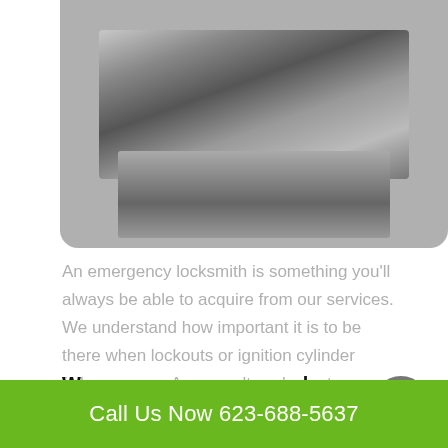[Figure (photo): Photo of a key cutting machine with metal cutting heads and key blanks, shown in muted grayscale tones with reddish accents on the sides.]
An emergency locksmith is something you'll always be able to acquire from our services. We understand how important it is to be there when lockouts or ignition cylinder failures occur. As a result, we've got locksmiths move on the
We can program your carkeys for an affordable price.
Call Us Now 623-688-5637